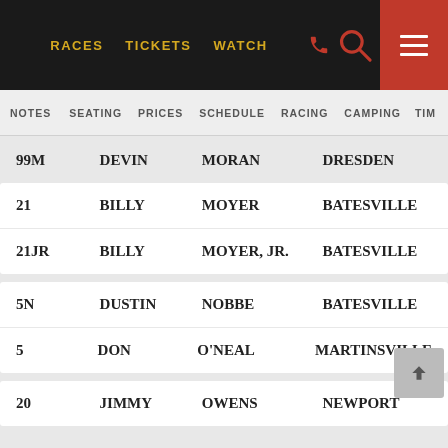RACES  TICKETS  WATCH
NOTES  SEATING  PRICES  SCHEDULE  RACING  CAMPING  TIM
| # | FIRST | LAST | CITY |
| --- | --- | --- | --- |
| 99M | DEVIN | MORAN | DRESDEN |
| 21 | BILLY | MOYER | BATESVILLE |
| 21JR | BILLY | MOYER, JR. | BATESVILLE |
| 5N | DUSTIN | NOBBE | BATESVILLE |
| 5 | DON | O'NEAL | MARTINSVILLE |
| 20 | JIMMY | OWENS | NEWPORT |
| 1 | EARL | PEARSON, JR. | JACKSONVILLE |